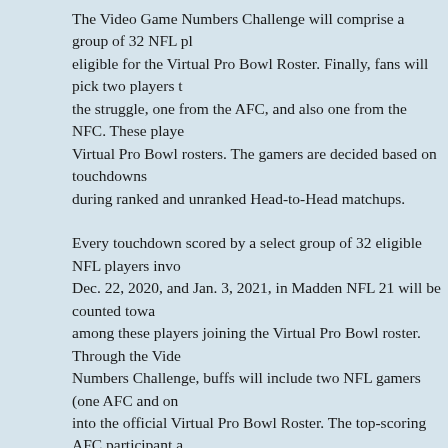The Video Game Numbers Challenge will comprise a group of 32 NFL pl... eligible for the Virtual Pro Bowl Roster. Finally, fans will pick two players t... the struggle, one from the AFC, and also one from the NFC. These playe... Virtual Pro Bowl rosters. The gamers are decided based on touchdowns ... during ranked and unranked Head-to-Head matchups.
Every touchdown scored by a select group of 32 eligible NFL players invo... Dec. 22, 2020, and Jan. 3, 2021, in Madden NFL 21 will be counted towa... among these players joining the Virtual Pro Bowl roster. Through the Vide... Numbers Challenge, buffs will include two NFL gamers (one AFC and on... into the official Virtual Pro Bowl Roster. The top-scoring AFC participant a... player will take part in this season's virtual sport and will likely be reveale... January 4, 2021. Players can Take Part in the Video Game Numbers Cha... through internet Head-to-Head matchups, both ranked and unranked, ac... PlayStation 4, Xbox One, PC, PlayStation 5, and Xbox Collection X/S.
Kelce is one of the most recent Madden 99 Club members, as he procee... stellar in Kansas City. Another Madden 99 Club member, Aaron Donald is... NFC players. That gives him his seventh selection to the Pro Bowl in sev... seasons. Amongst first-time selections are Washington Football Team ro... Chase Young, Detroit Lions tight end T.J. Hockenson, and Seahawks wid... D.K. Metcalf.
NFL Network hosted a special on Monday evening to formally unveil the ... NFC Pro Bowl rosters. There will not be an actual game played this yea...